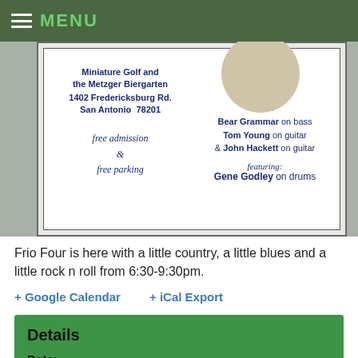MENU
[Figure (photo): Photo of a concert flyer showing venue details: Miniature Golf and the Metzger Biergarten, 1402 Fredericksburg Rd., San Antonio 78201. Free admission & free parking. With: Bear Grammar on bass, Tom Young on guitar & John Hackett on guitar. Featuring: Gene Godley on drums.]
Frio Four is here with a little country, a little blues and a little rock n roll from 6:30-9:30pm.
+ Google Calendar    + iCal Export
Details
Date: